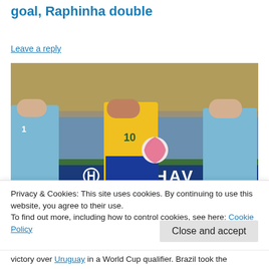goal, Raphinha double
Leave a reply
[Figure (photo): Soccer match photo showing a player in yellow Brazil jersey number 10 kicking a ball, flanked by two players in light blue Uruguay jerseys. Crowd visible in background, advertising boards with text 'HAVA' visible.]
Privacy & Cookies: This site uses cookies. By continuing to use this website, you agree to their use.
To find out more, including how to control cookies, see here: Cookie Policy
victory over Uruguay in a World Cup qualifier. Brazil took the